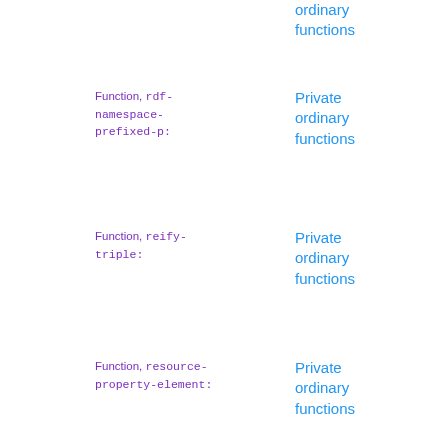ordinary functions
Function, rdf-namespace-prefixed-p:
Private ordinary functions
Function, reify-triple:
Private ordinary functions
Function, resource-property-element:
Private ordinary functions
Function, strcat:
Private ordinary functions
Function, syntax-term-p:
Private ordinary functions
Function, unique-attributes:
Private ordinary